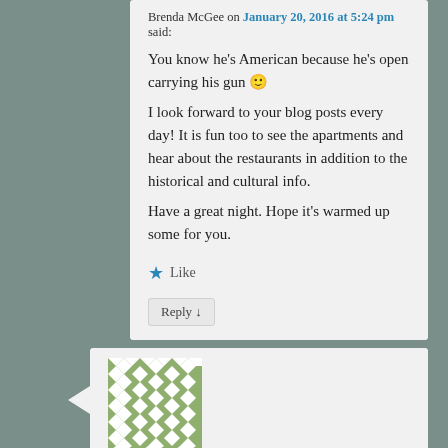Brenda McGee on January 20, 2016 at 5:24 pm said:
You know he's American because he's open carrying his gun 🙂
I look forward to your blog posts every day! It is fun too to see the apartments and hear about the restaurants in addition to the historical and cultural info.
Have a great night. Hope it's warmed up some for you.
Like
Reply ↓
[Figure (illustration): Green and white geometric diamond/tile pattern avatar image]
Barbara Harrison on January 20, 2016 at 5:55 pm said:
Having a gun, for sure. Is that Lucky Luke?